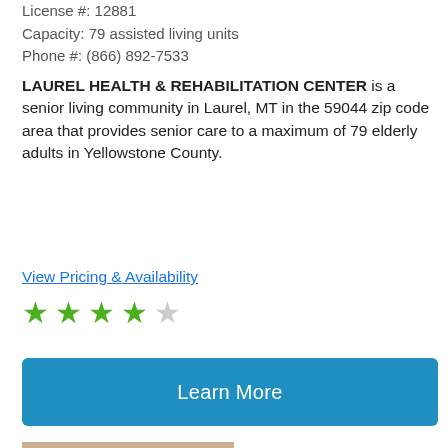License #: 12881
Capacity: 79 assisted living units
Phone #: (866) 892-7533
LAUREL HEALTH & REHABILITATION CENTER is a senior living community in Laurel, MT in the 59044 zip code area that provides senior care to a maximum of 79 elderly adults in Yellowstone County.
View Pricing & Availability
[Figure (other): 4 out of 5 stars rating — 4 filled green stars and 1 empty grey star]
[Figure (other): Learn More button — blue rounded rectangle button]
[Figure (photo): Photo of a caregiver feeding an elderly woman in bed]